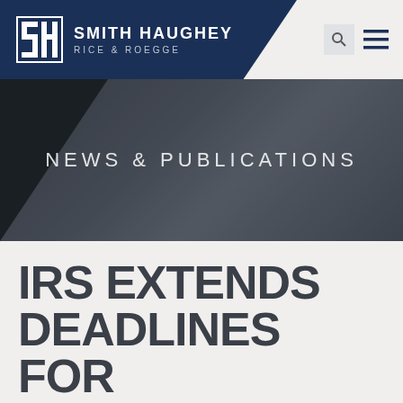[Figure (logo): Smith Haughey Rice & Roegge law firm logo — white SH monogram in a square grid on navy background, with firm name in white uppercase letters]
NEWS & PUBLICATIONS
IRS EXTENDS DEADLINES FOR 2015 ACA